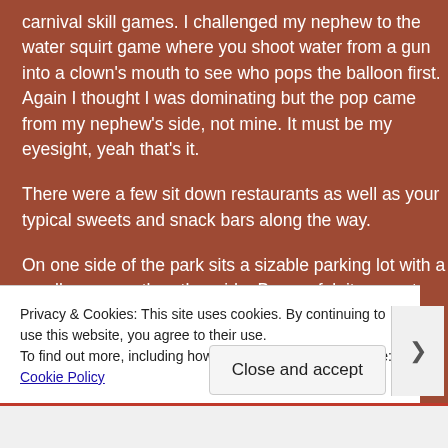carnival skill games. I challenged my nephew to the water squirt game where you shoot water from a gun into a clown's mouth to see who pops the balloon first.  Again I thought I was dominating but the pop came from my nephew's side, not mine.   It must be my eyesight, yeah that's it.
There were a few sit down restaurants as well as your typical sweets and snack bars along the way.
On one side of the park sits a sizable parking lot with a smaller one on the other side. Be careful, it can get
Privacy & Cookies: This site uses cookies. By continuing to use this website, you agree to their use.
To find out more, including how to control cookies, see here: Cookie Policy